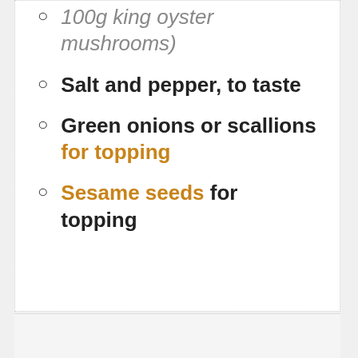100g king oyster mushrooms)
Salt and pepper, to taste
Green onions or scallions for topping
Sesame seeds for topping